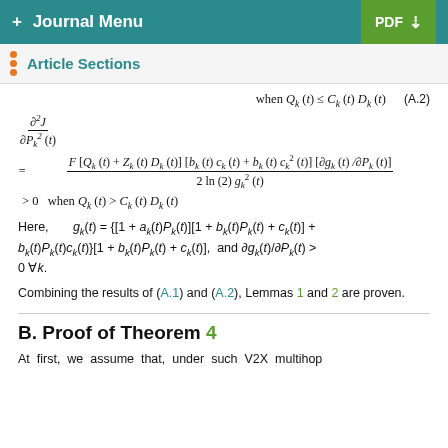+ Journal Menu | PDF
Article Sections
Here, g_k(t) = {[1 + a_k(t)P_k(t)][1 + b_k(t)P_k(t) + c_k(t)] + b_k(t)P_k(t)c_k(t)}{1 + b_k(t)P_k(t) + c_k(t)}, and ∂g_k(t)/∂P_k(t) > 0 ∀k.
Combining the results of (A.1) and (A.2), Lemmas 1 and 2 are proven.
B. Proof of Theorem 4
At first, we assume that, under such V2X multihop